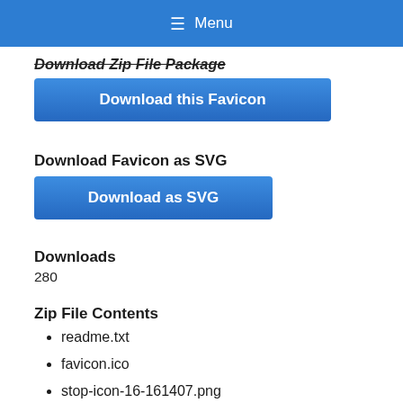≡ Menu
Download Zip File Package
Download this Favicon
Download Favicon as SVG
Download as SVG
Downloads
280
Zip File Contents
readme.txt
favicon.ico
stop-icon-16-161407.png
stop-icon-24-161407.png
stop-icon-32-161407.png